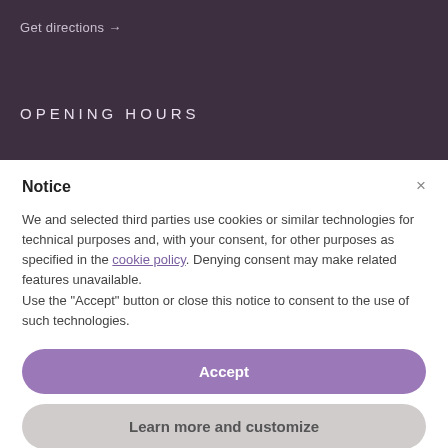Get directions →
OPENING HOURS
Notice
We and selected third parties use cookies or similar technologies for technical purposes and, with your consent, for other purposes as specified in the cookie policy. Denying consent may make related features unavailable.
Use the "Accept" button or close this notice to consent to the use of such technologies.
Accept
Learn more and customize